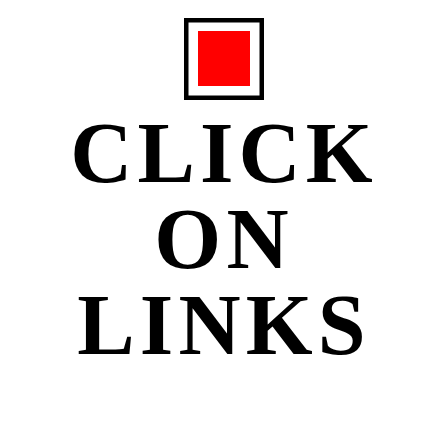[Figure (logo): A red filled rectangle inside a black outlined square border, centered at top of page]
CLICK ON LINKS